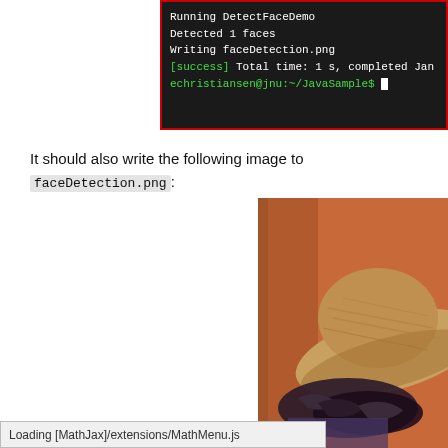[Figure (screenshot): Terminal window showing output: Running DetectFaceDemo, Detected 1 faces, Writing faceDetection.png, [success] Total time: 1 s, completed Jan, echristiansen@jnu:~/JavaSample$ with cursor. Dark background, green and white text, red border.]
It should also write the following image to faceDetection.png:
[Figure (photo): Partial photo of a person wearing a tan/orange wide-brimmed hat with dark feathers, against an orange-brown background. Only the top portion of the person is visible.]
Loading [MathJax]/extensions/MathMenu.js